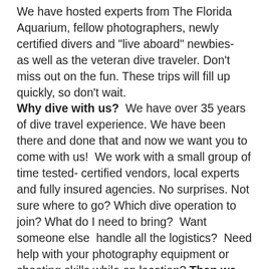We have hosted experts from The Florida Aquarium, fellow photographers, newly certified divers and "live aboard" newbies-  as well as the veteran dive traveler. Don't miss out on the fun. These trips will fill up quickly, so don't wait. Why dive with us?  We have over 35 years of dive travel experience. We have been there and done that and now we want you to come with us!  We work with a small group of time tested- certified vendors, local experts and fully insured agencies. No surprises. Not sure where to go? Which dive operation to join? What do I need to bring?  Want someone else  handle all the logistics?  Need help with your photography equipment or shooting skills while on location? Then we have you covered. Check out our upcoming trips! Contact us to learn about  "Special “Early Bird”" savings when you sign up and place your deposits